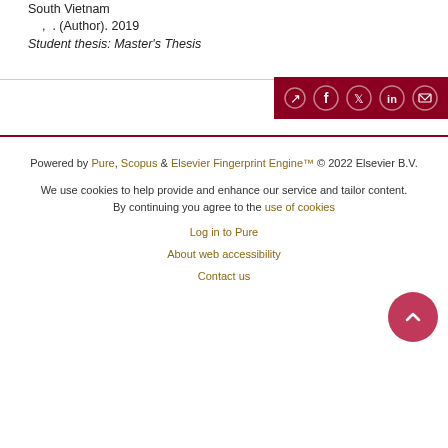South Vietnam
,  . (Author). 2019
Student thesis: Master's Thesis
[Figure (infographic): Share bar with social media icons (share, Facebook, Twitter, LinkedIn, email) on dark red background]
Powered by Pure, Scopus & Elsevier Fingerprint Engine™ © 2022 Elsevier B.V.

We use cookies to help provide and enhance our service and tailor content. By continuing you agree to the use of cookies

Log in to Pure

About web accessibility

Contact us